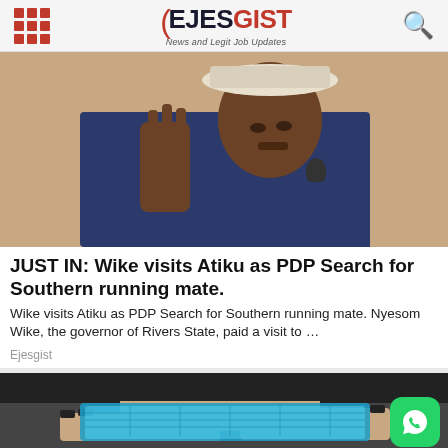EJESGIST — News and Legit Job Updates
[Figure (photo): A man in a navy blue outfit and white hat, gesturing with his right hand raised, speaking at a microphone]
JUST IN: Wike visits Atiku as PDP Search for Southern running mate.
Wike visits Atiku as PDP Search for Southern running mate. Nyesom Wike, the governor of Rivers State, paid a visit to …
Ejesgist
[Figure (photo): A person holding a glowing blue transparent device or flexible screen, with dark nail polish. A WhatsApp button is overlaid in the bottom right.]